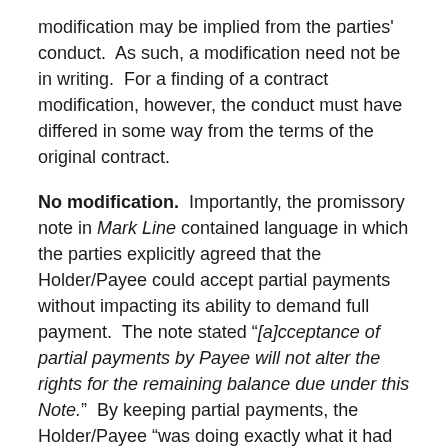modification may be implied from the parties' conduct.  As such, a modification need not be in writing.  For a finding of a contract modification, however, the conduct must have differed in some way from the terms of the original contract.
No modification.  Importantly, the promissory note in Mark Line contained language in which the parties explicitly agreed that the Holder/Payee could accept partial payments without impacting its ability to demand full payment.  The note stated "[a]cceptance of partial payments by Payee will not alter the rights for the remaining balance due under this Note."  By keeping partial payments, the Holder/Payee "was doing exactly what it had negotiated to do in the promissory note."  The Court granted summary judgment to the Holder/Payee accordingly.